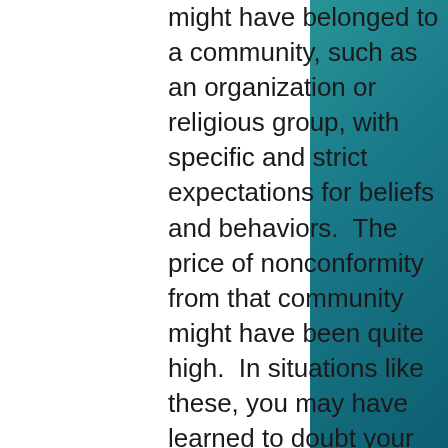might have belonged to a community, such as an organization or religious group, with specific and strict expectations for beliefs and behaviors.  The price of nonconformity from that community might have been quite high.  In situations like these, you may have learned to doubt your own sense of right and wrong and to do their bidding in order to avoid punishment or even censure from the group.  Since these people and/or groups ignored your feelings, needs, and wishes, you learned to ignore your own feelings, needs, and wishes in order to conform and avoid negative judgments or punishments from others.  Over time, you may have